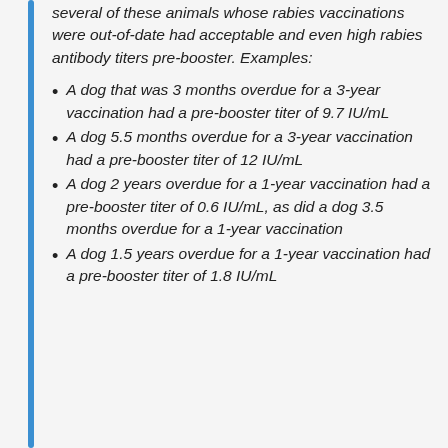several of these animals whose rabies vaccinations were out-of-date had acceptable and even high rabies antibody titers pre-booster. Examples:
A dog that was 3 months overdue for a 3-year vaccination had a pre-booster titer of 9.7 IU/mL
A dog 5.5 months overdue for a 3-year vaccination had a pre-booster titer of 12 IU/mL
A dog 2 years overdue for a 1-year vaccination had a pre-booster titer of 0.6 IU/mL, as did a dog 3.5 months overdue for a 1-year vaccination
A dog 1.5 years overdue for a 1-year vaccination had a pre-booster titer of 1.8 IU/mL